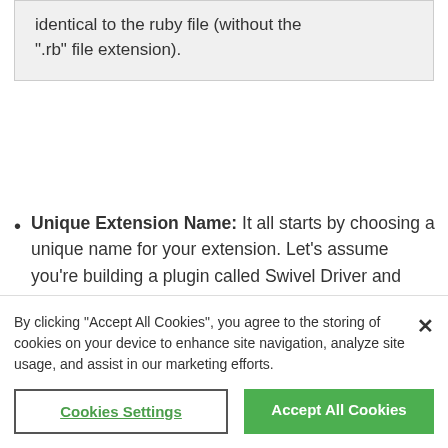identical to the ruby file (without the ".rb" file extension).
Unique Extension Name: It all starts by choosing a unique name for your extension. Let's assume you're building a plugin called Swivel Driver and your company is called GoCorp. We strongly recommend prepending your extension file names with your initials or company name.
By clicking “Accept All Cookies”, you agree to the storing of cookies on your device to enhance site navigation, analyze site usage, and assist in our marketing efforts.
Cookies Settings
Accept All Cookies